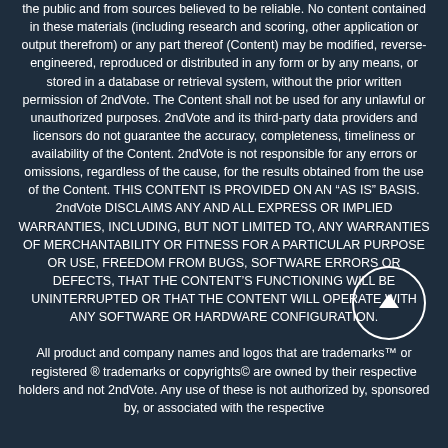the public and from sources believed to be reliable. No content contained in these materials (including research and scoring, other application or output therefrom) or any part thereof (Content) may be modified, reverse-engineered, reproduced or distributed in any form or by any means, or stored in a database or retrieval system, without the prior written permission of 2ndVote. The Content shall not be used for any unlawful or unauthorized purposes. 2ndVote and its third-party data providers and licensors do not guarantee the accuracy, completeness, timeliness or availability of the Content. 2ndVote is not responsible for any errors or omissions, regardless of the cause, for the results obtained from the use of the Content. THIS CONTENT IS PROVIDED ON AN “AS IS” BASIS. 2ndVote DISCLAIMS ANY AND ALL EXPRESS OR IMPLIED WARRANTIES, INCLUDING, BUT NOT LIMITED TO, ANY WARRANTIES OF MERCHANTABILITY OR FITNESS FOR A PARTICULAR PURPOSE OR USE, FREEDOM FROM BUGS, SOFTWARE ERRORS OR DEFECTS, THAT THE CONTENT’S FUNCTIONING WILL BE UNINTERRUPTED OR THAT THE CONTENT WILL OPERATE WITH ANY SOFTWARE OR HARDWARE CONFIGURATION. All product and company names and logos that are trademarks™ or registered ® trademarks or copyrights© are owned by their respective holders and not 2ndVote. Any use of these is not authorized by, sponsored by, or associated with the respective